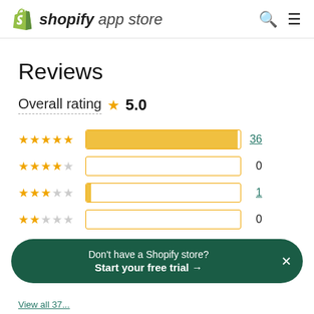Shopify App Store
Reviews
Overall rating ★ 5.0
[Figure (bar-chart): Rating distribution]
Don't have a Shopify store? Start your free trial →